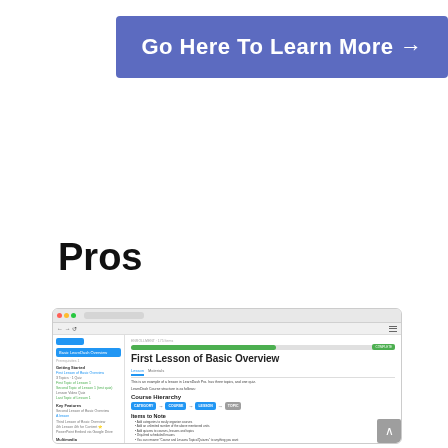[Figure (other): Blue button banner with white text reading 'Go Here To Learn More →']
Pros
[Figure (screenshot): Screenshot of LearnDash LMS interface showing 'First Lesson of Basic Overview' with course sidebar, progress bar, Course Hierarchy diagram (CATEGORY → COURSE → LESSON → TOPIC), and Items to Note bullet list]